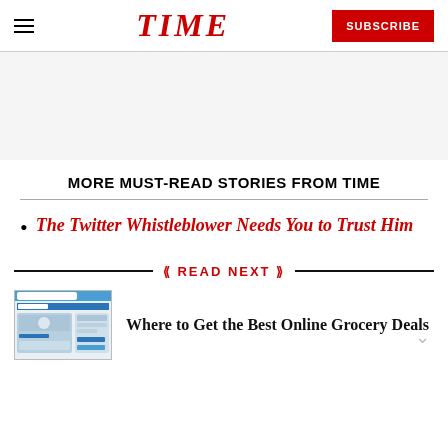TIME — SUBSCRIBE
[Figure (other): Advertisement/blank space area]
MORE MUST-READ STORIES FROM TIME
The Twitter Whistleblower Needs You to Trust Him
READ NEXT
[Figure (screenshot): Thumbnail image of an online grocery website]
Where to Get the Best Online Grocery Deals